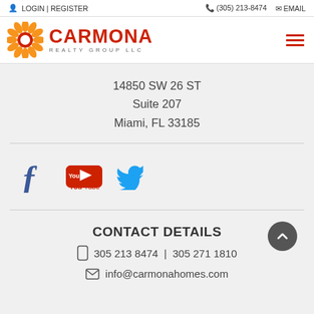LOGIN | REGISTER   (305) 213-8474   EMAIL
[Figure (logo): Carmona Realty Group LLC logo with sunflower icon and red text]
14850 SW 26 ST
Suite 207
Miami, FL 33185
[Figure (illustration): Social media icons: Facebook, YouTube, Twitter]
CONTACT DETAILS
305 213 8474  |  305 271 1810
info@carmonahomes.com